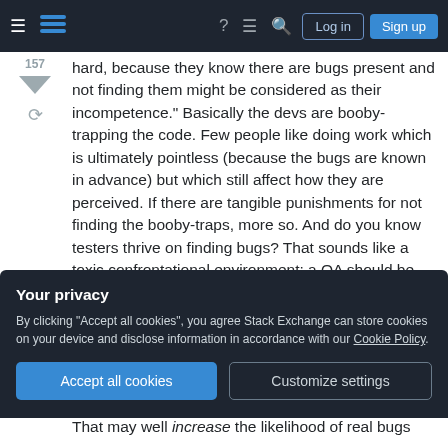Stack Exchange navigation bar with Log in and Sign up buttons
hard, because they know there are bugs present and not finding them might be considered as their incompetence." Basically the devs are booby-trapping the code. Few people like doing work which is ultimately pointless (because the bugs are known in advance) but which still affect how they are perceived. If there are tangible punishments for not finding the booby-traps, more so. And do you know testers thrive on finding bugs? That sounds like a toxic confrontational environment; a QA should be happy if the code they are examining is high quality.
Your privacy
By clicking "Accept all cookies", you agree Stack Exchange can store cookies on your device and disclose information in accordance with our Cookie Policy.
That may well increase the likelihood of real bugs